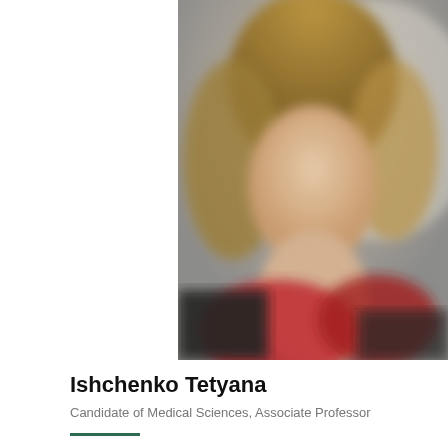[Figure (photo): Portrait photo of Ishchenko Tetyana, a woman with light brown/blonde hair wearing a red scarf, blurred background]
Ishchenko Tetyana
Candidate of Medical Sciences, Associate Professor
Paediatric haematologist